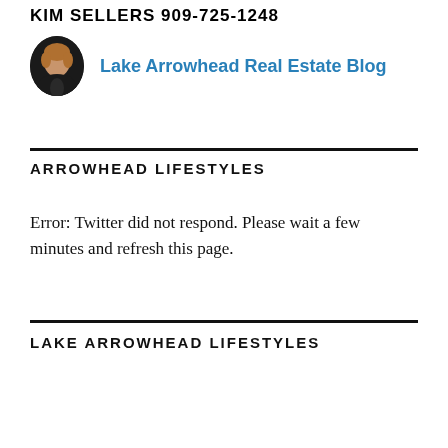KIM SELLERS 909-725-1248
[Figure (photo): Headshot photo of Kim Sellers, a woman with short blonde hair wearing a dark blazer]
Lake Arrowhead Real Estate Blog
ARROWHEAD LIFESTYLES
Error: Twitter did not respond. Please wait a few minutes and refresh this page.
LAKE ARROWHEAD LIFESTYLES